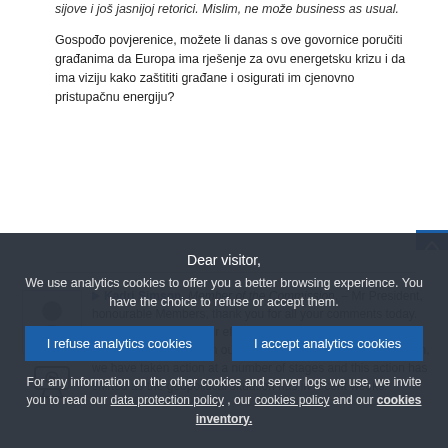sijove i još jasnijoj retorici. Mislim, ne može business as usual.
Gospođo povjerenice, možete li danas s ove govornice poručiti građanima da Europa ima rješenje za ovu energetsku krizu i da ima viziju kako zaštititi građane i osigurati im cjenovno pristupačnu energiju?
[Figure (photo): Avatar placeholder image of a person silhouette]
[Figure (other): Small TV/speaker icon]
Kadri Simson, Member of the Commission. – Mr President, honourable Members, thank you for all your comments today. We are putting all of our efforts into reducing the burden of higher energy prices on our EU citizens. And as you have seen, we have taken action at a number of stages and this action has shifted as the geopolitical situation has in recent weeks.
Dear visitor,
We use analytics cookies to offer you a better browsing experience. You have the choice to refuse or accept them.
I refuse analytics cookies
I accept analytics cookies
For any information on the other cookies and server logs we use, we invite you to read our data protection policy , our cookies policy and our cookies inventory.